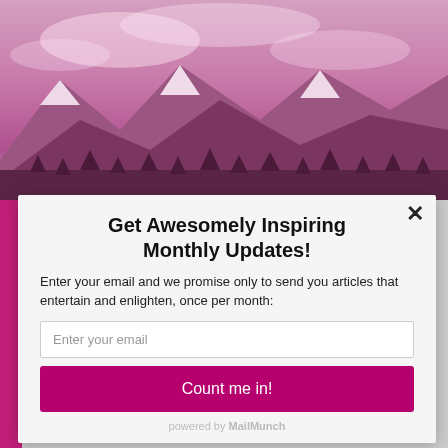[Figure (photo): Pink/purple mountain landscape with snow-capped peaks and trees, dramatic sky]
Get Awesomely Inspiring Monthly Updates!
Enter your email and we promise only to send you articles that entertain and enlighten, once per month:
Enter your email
Count me in!
powered by MailMunch